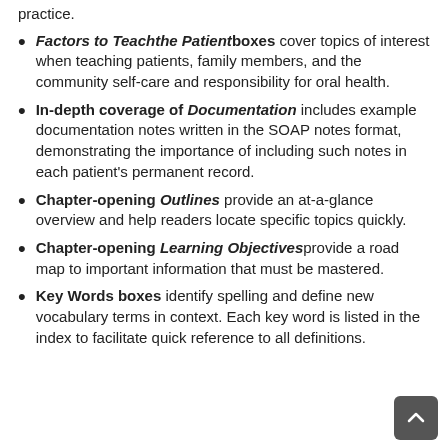practice.
Factors to Teach the Patient boxes cover topics of interest when teaching patients, family members, and the community self-care and responsibility for oral health.
In-depth coverage of Documentation includes example documentation notes written in the SOAP notes format, demonstrating the importance of including such notes in each patient's permanent record.
Chapter-opening Outlines provide an at-a-glance overview and help readers locate specific topics quickly.
Chapter-opening Learning Objectives provide a road map to important information that must be mastered.
Key Words boxes identify spelling and define new vocabulary terms in context. Each key word is listed in the index to facilitate quick reference to all definitions.